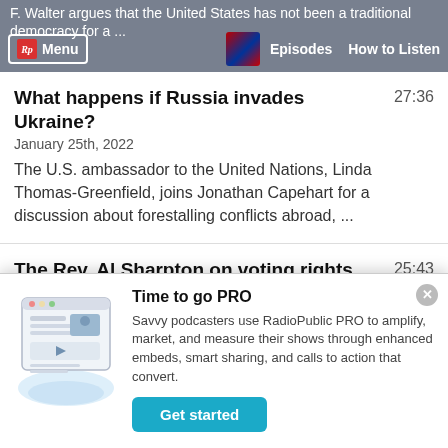F. Walter argues that the United States has not been a traditional democracy for a... | Menu | Episodes | How to Listen
What happens if Russia invades Ukraine?
January 25th, 2022   27:36
The U.S. ambassador to the United Nations, Linda Thomas-Greenfield, joins Jonathan Capehart for a discussion about forestalling conflicts abroad, ...
The Rev. Al Sharpton on voting rights and 'righteous troublemakers'
January 18th, 2022   25:43
Time to go PRO
Savvy podcasters use RadioPublic PRO to amplify, market, and measure their shows through enhanced embeds, smart sharing, and calls to action that convert.
Get started